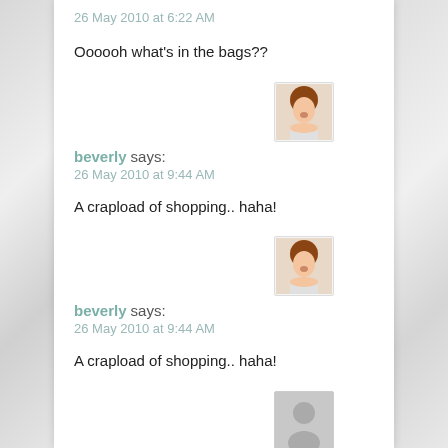26 May 2010 at 6:22 AM
Oooooh what's in the bags??
[Figure (photo): Small avatar photo of a woman with reddish-brown hair]
beverly says:
26 May 2010 at 9:44 AM
A crapload of shopping.. haha!
[Figure (photo): Small avatar photo of a woman with reddish-brown hair]
beverly says:
26 May 2010 at 9:44 AM
A crapload of shopping.. haha!
[Figure (photo): Generic grey person/avatar silhouette placeholder]